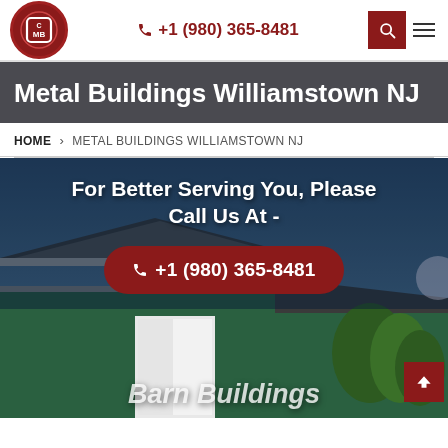CMB logo | +1 (980) 365-8481 | search icon | menu icon
Metal Buildings Williamstown NJ
HOME > METAL BUILDINGS WILLIAMSTOWN NJ
[Figure (photo): Hero banner showing a green metal barn building with white doors against a blue sky with trees. Overlay text reads 'For Better Serving You, Please Call Us At -' with a call button showing '+1 (980) 365-8481'. Partial text 'Barn Buildings' visible at bottom.]
For Better Serving You, Please Call Us At -
+1 (980) 365-8481
Barn Buildings